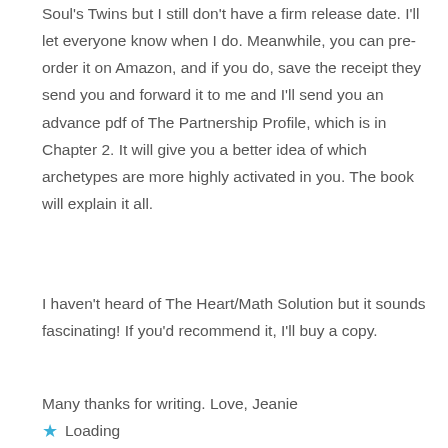Soul's Twins but I still don't have a firm release date. I'll let everyone know when I do. Meanwhile, you can pre-order it on Amazon, and if you do, save the receipt they send you and forward it to me and I'll send you an advance pdf of The Partnership Profile, which is in Chapter 2. It will give you a better idea of which archetypes are more highly activated in you. The book will explain it all.
I haven't heard of The Heart/Math Solution but it sounds fascinating! If you'd recommend it, I'll buy a copy.
Many thanks for writing. Love, Jeanie
Loading